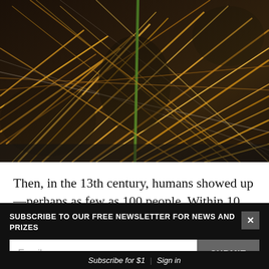[Figure (photo): Close-up photograph of dried straw/grass with golden-brown and dark tones, showing tangled dry plant material with one green stem visible.]
Then, in the 13th century, humans showed up—perhaps as few as 100 people. Within 10 generations
SUBSCRIBE TO OUR FREE NEWSLETTER FOR NEWS AND PRIZES
Email
SUBMIT
3
FREE ARTICLES LEFT
Subscribe for $1 | Sign in